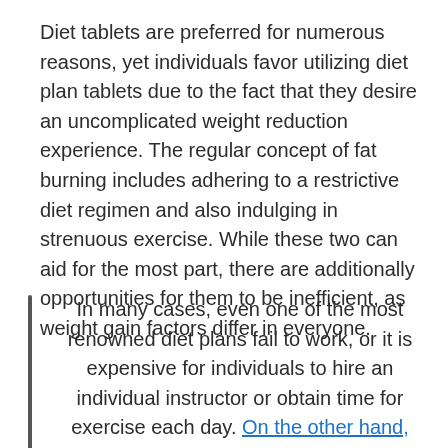Diet tablets are preferred for numerous reasons, yet individuals favor utilizing diet plan tablets due to the fact that they desire an uncomplicated weight reduction experience. The regular concept of fat burning includes adhering to a restrictive diet regimen and also indulging in strenuous exercise. While these two can aid for the most part, there are additionally opportunities for them to be inefficient, as weight gain factors differ in everyone.
In many cases, even one of the most renowned diet plans fail to work, or it is expensive for individuals to hire an individual instructor or obtain time for exercise each day. On the other hand, making use of diet regimen tablets and